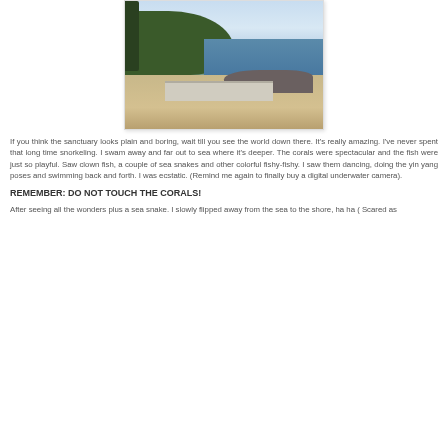[Figure (photo): Beach scene with rocky shoreline, sandy beach, green tree-covered hill in background, sea with boats, blue sky with clouds, and a white fence/barrier in foreground]
If you think the sanctuary looks plain and boring, wait till you see the world down there. It's really amazing. I've never spent that long time snorkeling. I swam away and far out to sea where it's deeper. The corals were spectacular and the fish were just so playful. Saw clown fish, a couple of sea snakes and other colorful fishy-fishy. I saw them dancing, doing the yin yang poses and swimming back and forth. I was ecstatic. (Remind me again to finally buy a digital underwater camera).
REMEMBER: DO NOT TOUCH THE CORALS!
After seeing all the wonders plus a sea snake. I slowly flipped away from the sea to the shore, ha ha ( Scared as